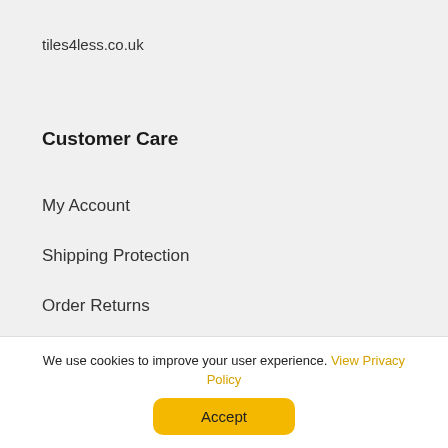tiles4less.co.uk
Customer Care
My Account
Shipping Protection
Order Returns
Klarna FAQ
We use cookies to improve your user experience. View Privacy Policy
Accept